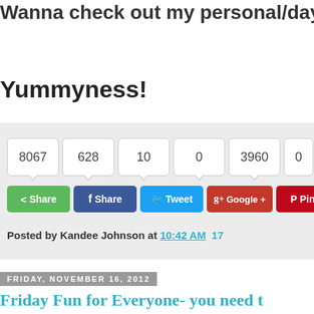Wanna check out my personal/dayi
Yummyness!
[Figure (screenshot): Social sharing widget showing counters: 8067 shares, 628 Facebook shares, 10 tweets, 0 Google+, 3960 Pinterest pins, 0 Tumblr. Buttons: Share, Share (Facebook), Tweet, Google+, Pin, Tum(blr). Posted by Kandee Johnson at 10:42 AM.]
Posted by Kandee Johnson at 10:42 AM 17
FRIDAY, NOVEMBER 16, 2012
Friday Fun for Everyone- you need t